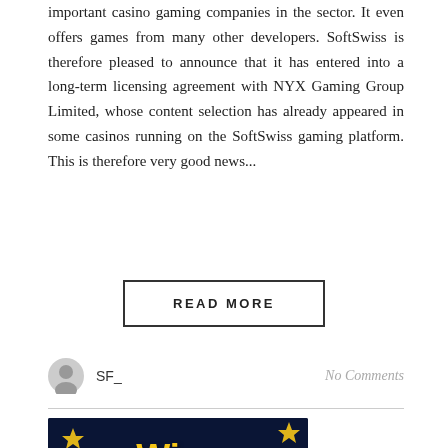important casino gaming companies in the sector. It even offers games from many other developers. SoftSwiss is therefore pleased to announce that it has entered into a long-term licensing agreement with NYX Gaming Group Limited, whose content selection has already appeared in some casinos running on the SoftSwiss gaming platform. This is therefore very good news...
READ MORE
SF_
No Comments
[Figure (illustration): Winz casino promotional banner with dark blue background, golden stars, and yellow 'Winz' logo text with tagline 'Big winz, no stringz']